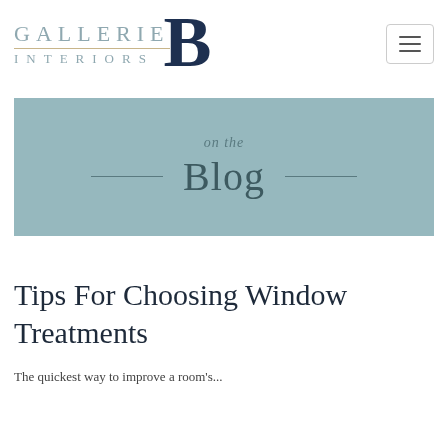[Figure (logo): Gallerie B Interiors logo: 'GALLERIE' in teal spaced letters, a gold horizontal rule, 'INTERIORS' in teal spaced letters, and a large bold dark navy 'B' to the right.]
[Figure (other): Navigation hamburger menu icon — three horizontal lines inside a rounded rectangle border.]
[Figure (other): Blog section banner in muted teal/sage color. Text reads 'on the' in italic above, flanked by horizontal lines, and 'Blog' in large serif font.]
Tips For Choosing Window Treatments
The quickest way to improve a room's...